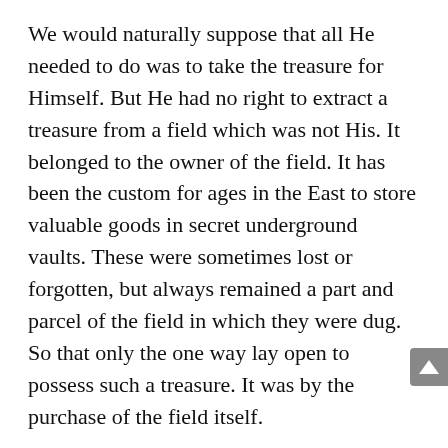We would naturally suppose that all He needed to do was to take the treasure for Himself. But He had no right to extract a treasure from a field which was not His. It belonged to the owner of the field. It has been the custom for ages in the East to store valuable goods in secret underground vaults. These were sometimes lost or forgotten, but always remained a part and parcel of the field in which they were dug. So that only the one way lay open to possess such a treasure. It was by the purchase of the field itself.
The parable is plain. Israel, redeemed, is the treasure. But what is the field? He had just told His disciples, the field is the world (Matt.13:38). In order to possess and enjoy His treasure,